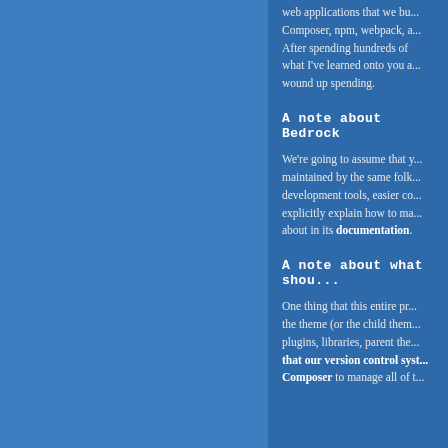web applications that we bu... Composer, npm, webpack, a... After spending hundreds of... what I've learned onto you a... wound up spending.
A note about Bedrock
We're going to assume that y... maintained by the same folk... development tools, easier co... explicitly explain how to ma... about in its documentation.
A note about what shou...
One thing that this entire pr... the theme (or the child them... plugins, libraries, parent the... that our version control syst... Composer to manage all of t...